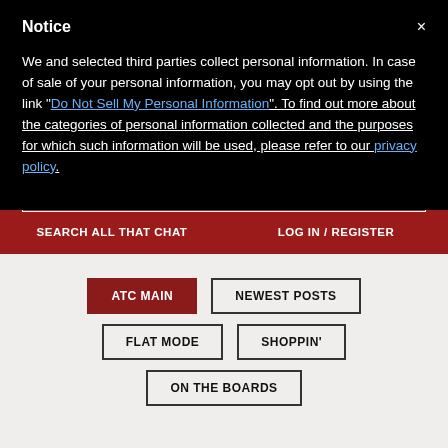Notice
We and selected third parties collect personal information. In case of sale of your personal information, you may opt out by using the link "Do Not Sell My Personal Information". To find out more about the categories of personal information collected and the purposes for which such information will be used, please refer to our privacy policy.
SEARCH ALL THAT CHAT
LOG IN / REGISTER
ATC MAIN
NEWEST POSTS
FLAT MODE
SHOPPIN'
ON THE BOARDS